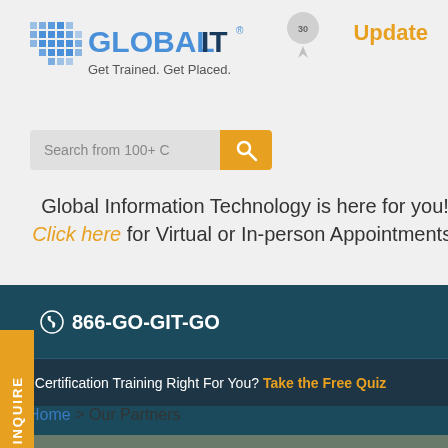[Figure (logo): Global IT logo with tagline 'Get Trained. Get Placed.' and blue pixel art globe icon]
Update
[Figure (illustration): Anniversary badge/ribbon icon]
Search from 100+ C
Global Information Technology is here for you! Click here for Virtual or In-person Appointments.
INQUIRE
866-GO-GIT-GO
Is IT Certification Training Right For You? Take the Free Quiz
Home > Our Partners